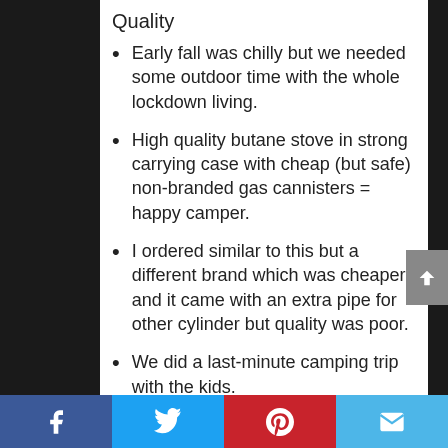Quality
Early fall was chilly but we needed some outdoor time with the whole lockdown living.
High quality butane stove in strong carrying case with cheap (but safe) non-branded gas cannisters = happy camper.
I ordered similar to this but a different brand which was cheaper and it came with an extra pipe for other cylinder but quality was poor.
We did a last-minute camping trip with the kids.
Facebook | Twitter | Pinterest | Email